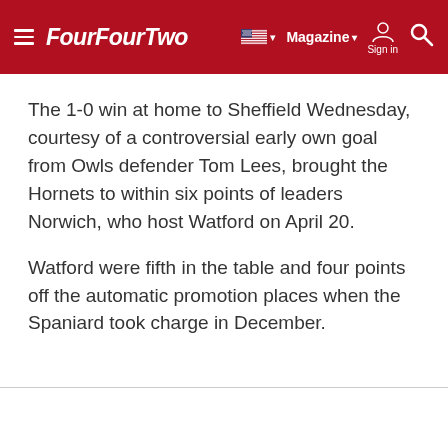FourFourTwo — Magazine | Sign in
The 1-0 win at home to Sheffield Wednesday, courtesy of a controversial early own goal from Owls defender Tom Lees, brought the Hornets to within six points of leaders Norwich, who host Watford on April 20.
Watford were fifth in the table and four points off the automatic promotion places when the Spaniard took charge in December.